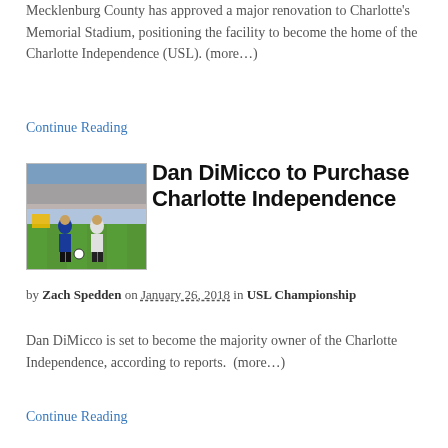Mecklenburg County has approved a major renovation to Charlotte's Memorial Stadium, positioning the facility to become the home of the Charlotte Independence (USL). (more…)
Continue Reading
[Figure (photo): Soccer players on a field during a match, one in blue and one in white.]
Dan DiMicco to Purchase Charlotte Independence
by Zach Spedden on January 26, 2018 in USL Championship
Dan DiMicco is set to become the majority owner of the Charlotte Independence, according to reports.  (more…)
Continue Reading